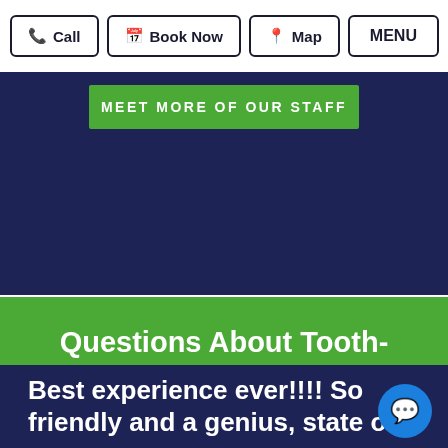Call  Book Now  Map  MENU
MEET MORE OF OUR STAFF
Questions About Tooth-Colored Filligns in 33470?
Give Us A Call →
Best experience ever!!!! So friendly and a genius, state of